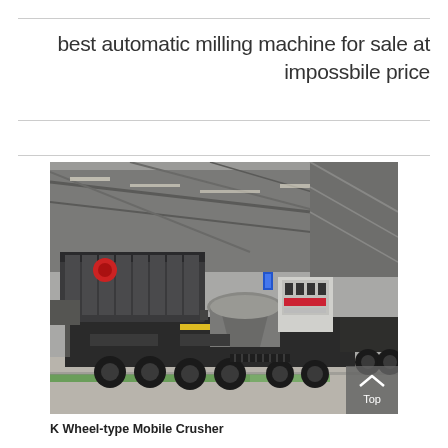best automatic milling machine for sale at impossbile price
[Figure (photo): K Wheel-type Mobile Crusher photographed inside an industrial warehouse/factory. Large wheeled mobile crushing machine with conveyor belt, cone crusher, and screening unit mounted on a heavy trailer chassis. Industrial building interior with steel roof structure visible in background. A gray 'Top' button with up-arrow chevron overlaid in bottom-right corner.]
K Wheel-type Mobile Crusher